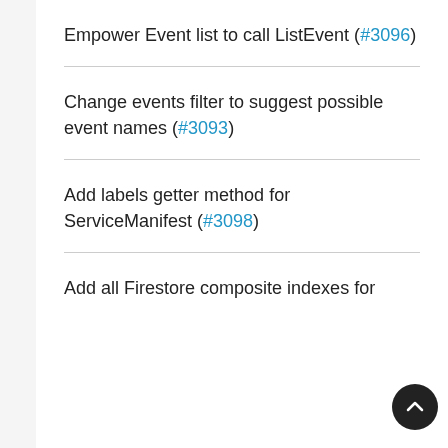Empower Event list to call ListEvent (#3096)
Change events filter to suggest possible event names (#3093)
Add labels getter method for ServiceManifest (#3098)
Add all Firestore composite indexes for